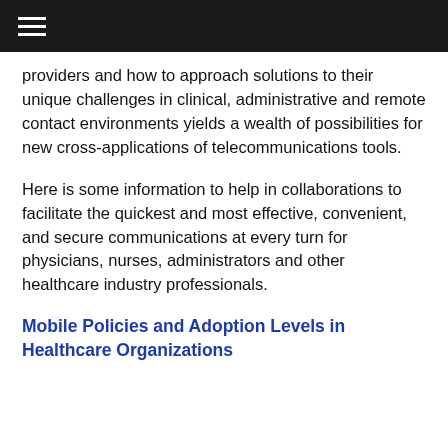≡
providers and how to approach solutions to their unique challenges in clinical, administrative and remote contact environments yields a wealth of possibilities for new cross-applications of telecommunications tools.
Here is some information to help in collaborations to facilitate the quickest and most effective, convenient, and secure communications at every turn for physicians, nurses, administrators and other healthcare industry professionals.
Mobile Policies and Adoption Levels in Healthcare Organizations